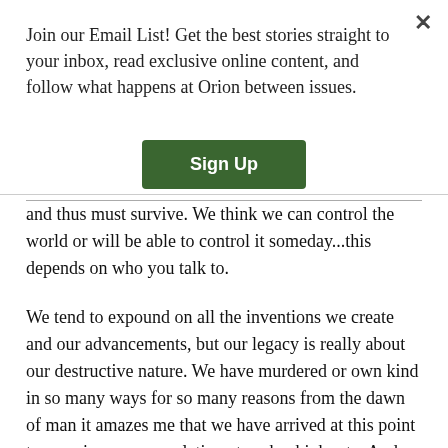Join our Email List! Get the best stories straight to your inbox, read exclusive online content, and follow what happens at Orion between issues.
Sign Up
and thus must survive. We think we can control the world or will be able to control it someday...this depends on who you talk to.
We tend to expound on all the inventions we create and our advancements, but our legacy is really about our destructive nature. We have murdered or own kind in so many ways for so many reasons from the dawn of man it amazes me that we have arrived at this point to even increase population at such a high rate. And what we've done to other species and to the Earth is nothing but destructive selfishness.
And the solutions we look for are not for the Earth but for own survival first. If we woke up one day and realized the Sun was preparing a blitz on Earth, we would not be about